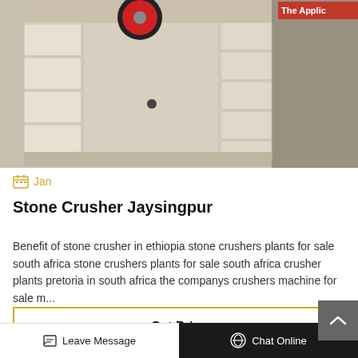[Figure (photo): Stone crusher machine — large industrial jaw crusher with cream/beige colored frame, red flywheel visible at top, multiple rectangular compartments, photographed in what appears to be a warehouse or exhibition hall. Red banner partially visible top right reading 'The Applic'.]
Jan
Stone Crusher Jaysingpur
Benefit of stone crusher in ethiopia stone crushers plants for sale south africa stone crushers plants for sale south africa crusher plants pretoria in south africa the companys crushers machine for sale m...
Get Price
Leave Message   Chat Online